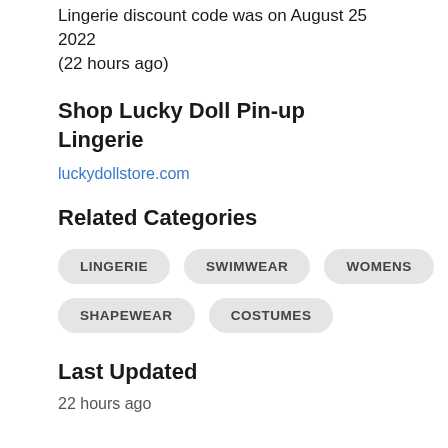Lingerie discount code was on August 25 2022 (22 hours ago)
Shop Lucky Doll Pin-up Lingerie
luckydollstore.com
Related Categories
LINGERIE
SWIMWEAR
WOMENS
SHAPEWEAR
COSTUMES
Last Updated
22 hours ago